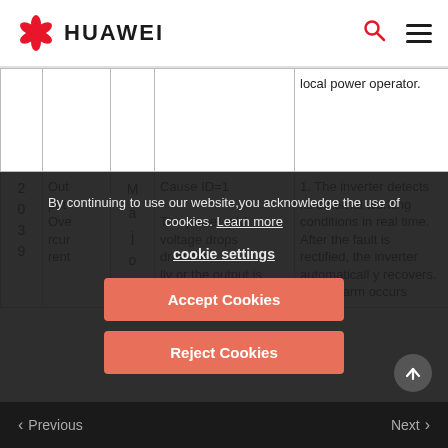HUAWEI
| ID | Name | Severity | Cause | Action |
| --- | --- | --- | --- | --- |
|  |  |  |  | local power operator. |
| 2039 | Output Overcurrent | Major | Cause ID=1
The power grid voltage drops dramatically or the output is short-... | 1. The inverter detects its external working conditions in real time. After the fault is rectified, the inverter automatically recovers. If the alarm occurs... |
By continuing to use our website,you acknowledge the use of cookies. Learn more
cookie settings
Accept Cookies
Reject Cookies
Previous   Next